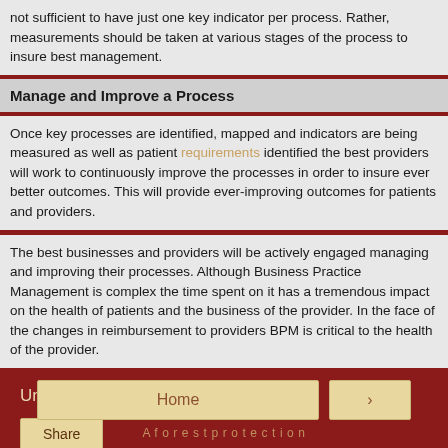not sufficient to have just one key indicator per process. Rather, measurements should be taken at various stages of the process to insure best management.
Manage and Improve a Process
Once key processes are identified, mapped and indicators are being measured as well as patient requirements identified the best providers will work to continuously improve the processes in order to insure ever better outcomes. This will provide ever-improving outcomes for patients and providers.
The best businesses and providers will be actively engaged managing and improving their processes. Although Business Practice Management is complex the time spent on it has a tremendous impact on the health of patients and the business of the provider. In the face of the changes in reimbursement to providers BPM is critical to the health of the provider.
Unknown at 20:15
Share
Home
›